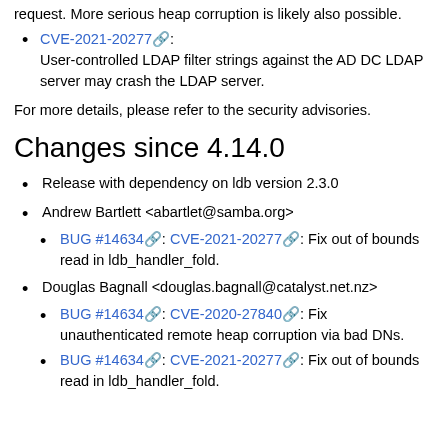request. More serious heap corruption is likely also possible.
CVE-2021-20277: User-controlled LDAP filter strings against the AD DC LDAP server may crash the LDAP server.
For more details, please refer to the security advisories.
Changes since 4.14.0
Release with dependency on ldb version 2.3.0
Andrew Bartlett <abartlet@samba.org>
BUG #14634: CVE-2021-20277: Fix out of bounds read in ldb_handler_fold.
Douglas Bagnall <douglas.bagnall@catalyst.net.nz>
BUG #14634: CVE-2020-27840: Fix unauthenticated remote heap corruption via bad DNs.
BUG #14634: CVE-2021-20277: Fix out of bounds read in ldb_handler_fold.